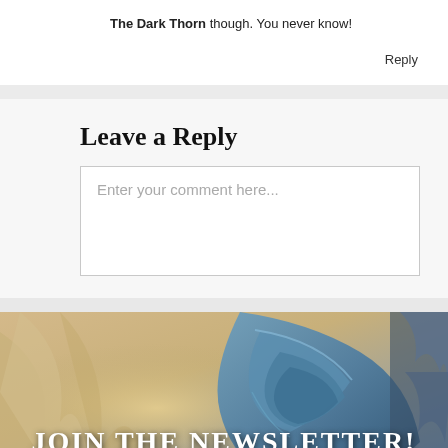The Dark Thorn though. You never know!
Reply
Leave a Reply
Enter your comment here...
[Figure (illustration): Fantasy illustration showing armored figure, used as newsletter banner background]
JOIN THE NEWSLETTER!